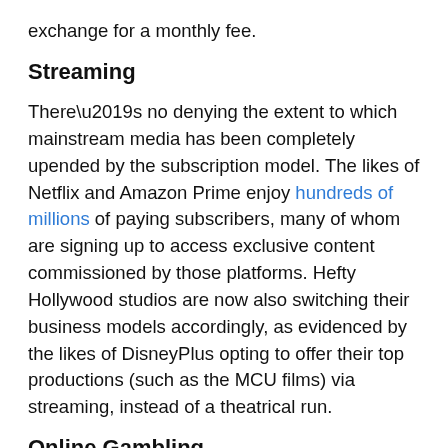exchange for a monthly fee.
Streaming
There’s no denying the extent to which mainstream media has been completely upended by the subscription model. The likes of Netflix and Amazon Prime enjoy hundreds of millions of paying subscribers, many of whom are signing up to access exclusive content commissioned by those platforms. Hefty Hollywood studios are now also switching their business models accordingly, as evidenced by the likes of DisneyPlus opting to offer their top productions (such as the MCU films) via streaming, instead of a theatrical run.
Online Gambling